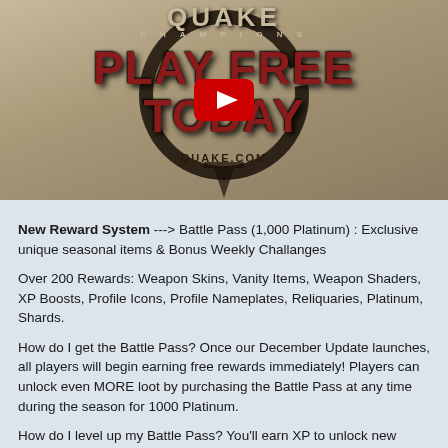[Figure (screenshot): Quake Champions 'Play Free Today' promotional video thumbnail with YouTube play button overlay. Shows the Quake Champions logo at top, large red text reading 'PLAY FREE TODAY', QUAKE.COM text below, and a black circular brushstroke design.]
New Reward System ---> Battle Pass (1,000 Platinum) : Exclusive unique seasonal items & Bonus Weekly Challanges
Over 200 Rewards: Weapon Skins, Vanity Items, Weapon Shaders, XP Boosts, Profile Icons, Profile Nameplates, Reliquaries, Platinum, Shards.
How do I get the Battle Pass? Once our December Update launches, all players will begin earning free rewards immediately! Players can unlock even MORE loot by purchasing the Battle Pass at any time during the season for 1000 Platinum.
How do I level up my Battle Pass? You'll earn XP to unlock new rewards simply by playing Quake Champions. Earn bonus XP by completing Daily